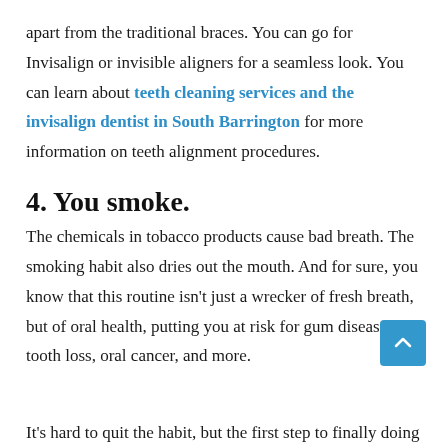apart from the traditional braces. You can go for Invisalign or invisible aligners for a seamless look. You can learn about teeth cleaning services and the invisalign dentist in South Barrington for more information on teeth alignment procedures.
4. You smoke.
The chemicals in tobacco products cause bad breath. The smoking habit also dries out the mouth. And for sure, you know that this routine isn't just a wrecker of fresh breath, but of oral health, putting you at risk for gum disease, tooth loss, oral cancer, and more.
It's hard to quit the habit, but the first step to finally doing